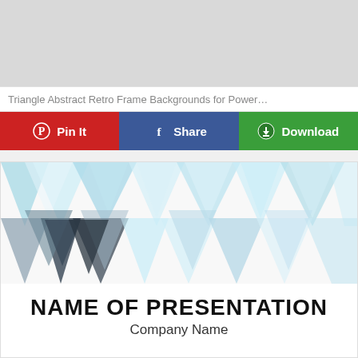[Figure (other): Gray placeholder image area at top]
Triangle Abstract Retro Frame Backgrounds for Power…
[Figure (infographic): Button bar with three buttons: Pin It (red, Pinterest icon), Share (blue, Facebook icon), Download (green, download icon)]
[Figure (illustration): Preview card showing triangle abstract retro frame background with blue/teal/gray geometric triangles pattern at top, and text NAME OF PRESENTATION / Company Name below]